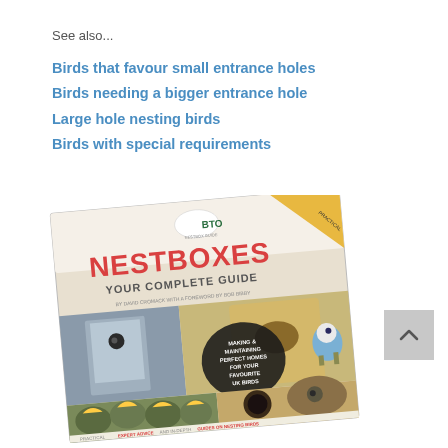See also...
Birds that favour small entrance holes
Birds needing a bigger entrance hole
Large hole nesting birds
Birds with special requirements
[Figure (photo): Book cover of 'Nestboxes: Your Complete Guide' published by BTO, showing nestboxes and birds including blue tit, baby birds with open beaks, and a wren. Subtitle: Making & Maintaining Perfect Homes for Your Favourite UK Birds. Practical expert advice and in-depth guides on nesting birds.]